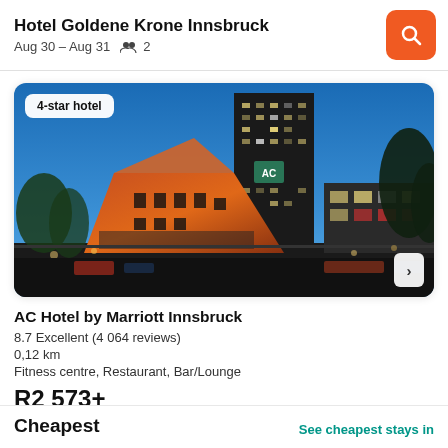Hotel Goldene Krone Innsbruck
Aug 30 – Aug 31   👥 2
[Figure (photo): Night photo of AC Hotel by Marriott Innsbruck and surrounding city buildings including a lit casino building and a tall dark tower block against a blue evening sky]
4-star hotel
AC Hotel by Marriott Innsbruck
8.7 Excellent (4 064 reviews)
0,12 km
Fitness centre, Restaurant, Bar/Lounge
R2 573+
Cheapest
See cheapest stays in